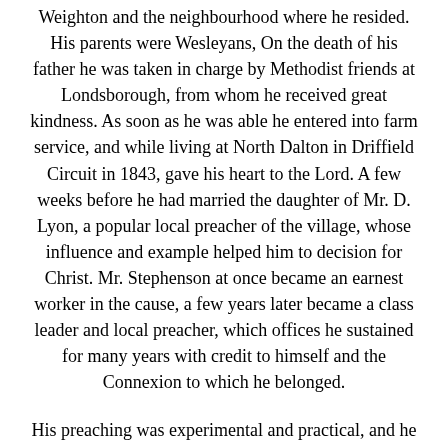Weighton and the neighbourhood where he resided. His parents were Wesleyans, On the death of his father he was taken in charge by Methodist friends at Londsborough, from whom he received great kindness. As soon as he was able he entered into farm service, and while living at North Dalton in Driffield Circuit in 1843, gave his heart to the Lord. A few weeks before he had married the daughter of Mr. D. Lyon, a popular local preacher of the village, whose influence and example helped him to decision for Christ. Mr. Stephenson at once became an earnest worker in the cause, a few years later became a class leader and local preacher, which offices he sustained for many years with credit to himself and the Connexion to which he belonged.
His preaching was experimental and practical, and he was received with more than ordinary acceptance to the pulpits of our churches. He was a man who prayed